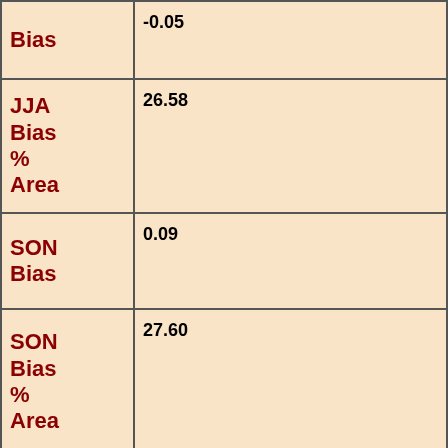| Row Label | Value |
| --- | --- |
| Bias | -0.05 |
| JJA Bias % Area | 26.58 |
| SON Bias | 0.09 |
| SON Bias % Area | 27.60 |
| % Area with r>0.9 | 49.56 |